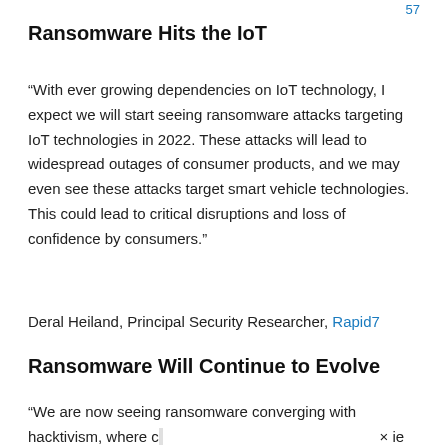57
Ransomware Hits the IoT
“With ever growing dependencies on IoT technology, I expect we will start seeing ransomware attacks targeting IoT technologies in 2022. These attacks will lead to widespread outages of consumer products, and we may even see these attacks target smart vehicle technologies. This could lead to critical disruptions and loss of confidence by consumers.”
Deral Heiland, Principal Security Researcher, Rapid7
Ransomware Will Continue to Evolve
“We are now seeing ransomware converging with hacktivism, where c… × ie to the hack… …ustry, or